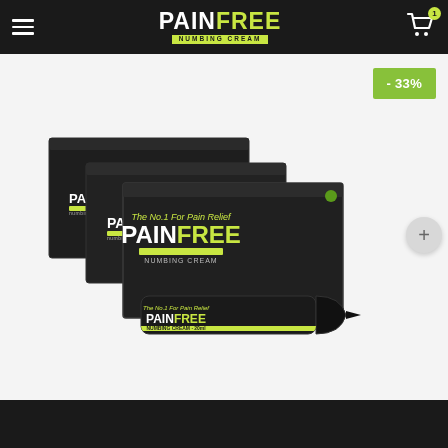PAINFREE NUMBING CREAM — Navigation header with cart
[Figure (photo): Product photo of PainFree Numbing Cream — three black boxes stacked diagonally and one cream tube in front, all branded with 'PAINFREE' logo and 'The No.1 For Pain Relief' tagline]
- 33%